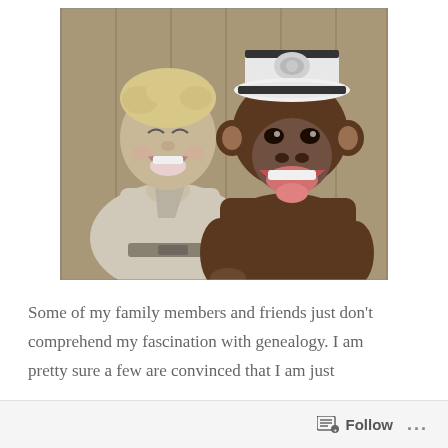[Figure (photo): Black and white vintage photograph of a laughing young boy in a light shirt with a neckerchief sitting next to a chimpanzee wearing a captain's hat, both appearing to grin broadly]
Some of my family members and friends just don't comprehend my fascination with genealogy. I am pretty sure a few are convinced that I am just
Follow ...